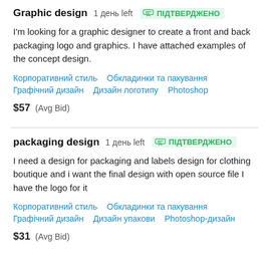Graphic design  1 день left  ПІДТВЕРДЖЕНО
I'm looking for a graphic designer to create a front and back packaging logo and graphics. I have attached examples of the concept design.
Корпоративний стиль   Обкладинки та пакування   Графічний дизайн   Дизайн логотипу   Photoshop
$57  (Avg Bid)
packaging design  1 день left  ПІДТВЕРДЖЕНО
I need a design for packaging and labels design for clothing boutique and i want the final design with open source file I have the logo for it
Корпоративний стиль   Обкладинки та пакування   Графічний дизайн   Дизайн упакови   Photoshop-дизайн
$31  (Avg Bid)